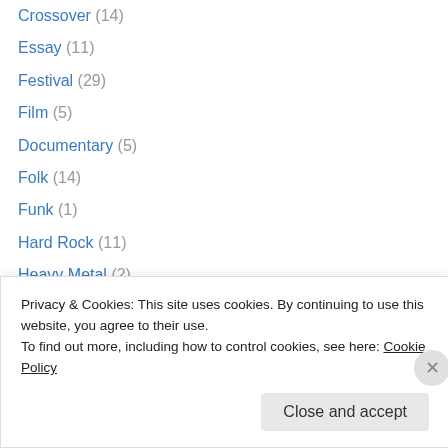Crossover (14)
Essay (11)
Festival (29)
Film (5)
Documentary (5)
Folk (14)
Funk (1)
Hard Rock (11)
Heavy Metal (2)
Instrumental (58)
Interview (12)
Jazz (12)
Jazz-Rock (51)
Fusion (20)
Privacy & Cookies: This site uses cookies. By continuing to use this website, you agree to their use. To find out more, including how to control cookies, see here: Cookie Policy